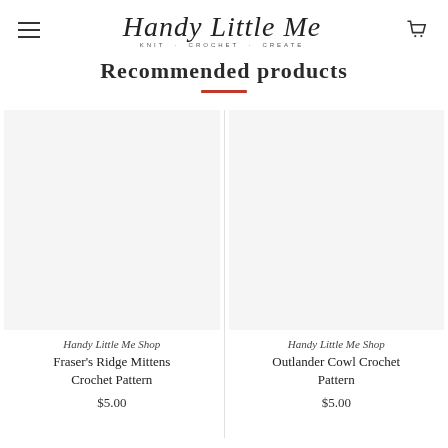Handy Little Me — KNIT · CROCHET · CREATE
Recommended products
[Figure (other): Product image placeholder for Fraser's Ridge Mittens Crochet Pattern (white/empty)]
Handy Little Me Shop
Fraser's Ridge Mittens Crochet Pattern
$5.00
[Figure (other): Product image placeholder for Outlander Cowl Crochet Pattern (white/empty)]
Handy Little Me Shop
Outlander Cowl Crochet Pattern
$5.00